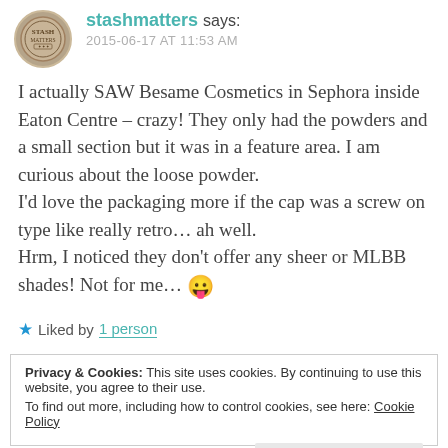stashmatters says: 2015-06-17 AT 11:53 AM
I actually SAW Besame Cosmetics in Sephora inside Eaton Centre – crazy! They only had the powders and a small section but it was in a feature area. I am curious about the loose powder.
I'd love the packaging more if the cap was a screw on type like really retro… ah well.
Hrm, I noticed they don't offer any sheer or MLBB shades! Not for me… 😛
★ Liked by 1 person
Privacy & Cookies: This site uses cookies. By continuing to use this website, you agree to their use.
To find out more, including how to control cookies, see here: Cookie Policy
Close and accept
fivezero says: